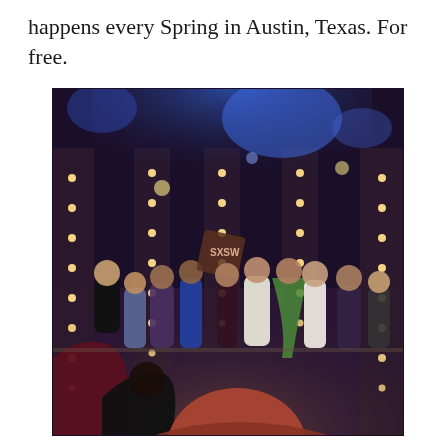happens every Spring in Austin, Texas. For free.
[Figure (photo): A crowd of people on and in front of a theater stage at night, with warm string lights along curtain columns and blue stage lighting overhead. People are dancing and celebrating.]